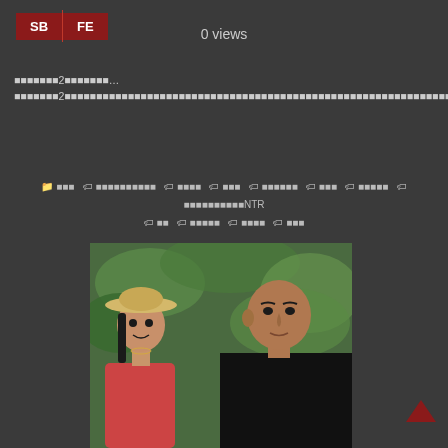SB | FE
0 views
■■■■■■■2■■■■■■■…■■■■■■■2■■■■■■■■■■■■■■■■■■■■■■■■■■■■■■■■■■■■■■■■■■■■■■■■■■■■■■■■■■■■■■■■10■■■■■■■2■■■■■■■■■■■■■■■■W■■■■■■■■■■■■■■■■■■■■■■■■■■■■■■■■■■■■■■■■■■■■■※■■■■■■AV■
■■■ ■■■■■■■■■■ ■■■■ ■■■ ■■■■■■ ■■■ ■■■■■ ■■■■■■■■■■NTR ■■ ■■■■■ ■■■■ ■■■
[Figure (photo): Two people outdoors, a woman wearing a hat and a man in a black shirt, surrounded by green foliage]